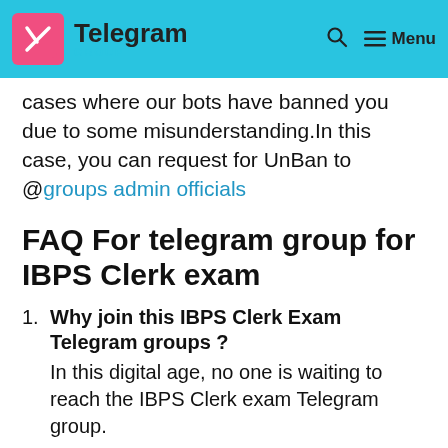Telegram GROUP
cases where our bots have banned you due to some misunderstanding.In this case, you can request for UnBan to @groups admin officials
FAQ For telegram group for IBPS Clerk exam
Why join this IBPS Clerk Exam Telegram groups ? In this digital age, no one is waiting to reach the IBPS Clerk exam Telegram group.